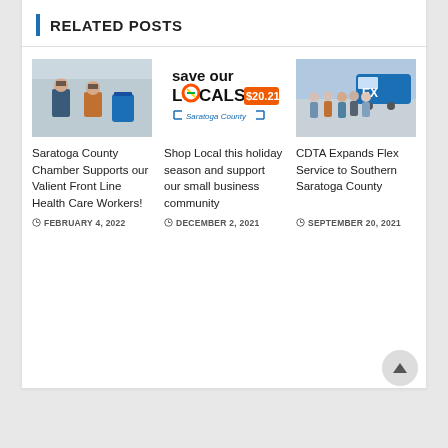RELATED POSTS
[Figure (photo): Two masked people standing near a blue donation bin inside a building]
Saratoga County Chamber Supports our Valient Front Line Health Care Workers!
FEBRUARY 4, 2022
[Figure (logo): Save Our Locals $20.21 Saratoga County logo/graphic]
Shop Local this holiday season and support our small business community
DECEMBER 2, 2021
[Figure (photo): Group of people standing in front of a blue CDTA Flex bus outdoors]
CDTA Expands Flex Service to Southern Saratoga County
SEPTEMBER 20, 2021